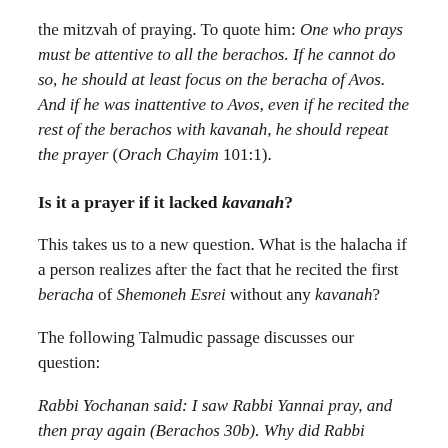the mitzvah of praying. To quote him: One who prays must be attentive to all the berachos. If he cannot do so, he should at least focus on the beracha of Avos. And if he was inattentive to Avos, even if he recited the rest of the berachos with kavanah, he should repeat the prayer (Orach Chayim 101:1).
Is it a prayer if it lacked kavanah?
This takes us to a new question. What is the halacha if a person realizes after the fact that he recited the first beracha of Shemoneh Esrei without any kavanah?
The following Talmudic passage discusses our question:
Rabbi Yochanan said: I saw Rabbi Yannai pray, and then pray again (Berachos 30b). Why did Rabbi